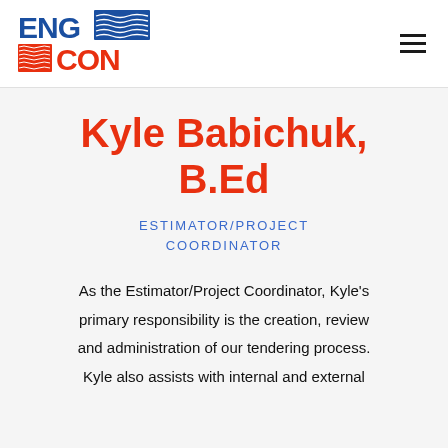[Figure (logo): ENGCON company logo with stylized topographic pattern, text ENG in blue and CON in orange-red with decorative graphic elements]
Kyle Babichuk, B.Ed
ESTIMATOR/PROJECT COORDINATOR
As the Estimator/Project Coordinator, Kyle's primary responsibility is the creation, review and administration of our tendering process. Kyle also assists with internal and external